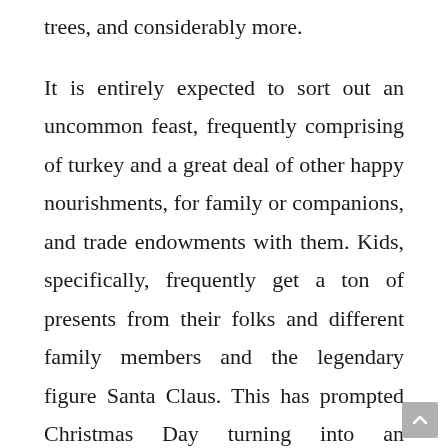trees, and considerably more.
It is entirely expected to sort out an uncommon feast, frequently comprising of turkey and a great deal of other happy nourishments, for family or companions, and trade endowments with them. Kids, specifically, frequently get a ton of presents from their folks and different family members and the legendary figure Santa Claus. This has prompted Christmas Day turning into an inexorably marketed occasion, with plenty of families spending a huge piece of their salary on presents and